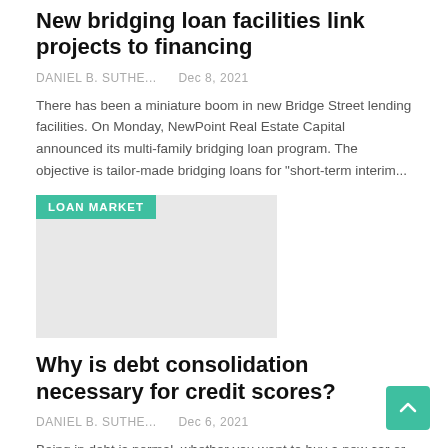New bridging loan facilities link projects to financing
DANIEL B. SUTHE...    Dec 8, 2021
There has been a miniature boom in new Bridge Street lending facilities. On Monday, NewPoint Real Estate Capital announced its multi-family bridging loan program. The objective is tailor-made bridging loans for "short-term interim...
[Figure (photo): Image placeholder with LOAN MARKET badge in teal color, light gray background]
Why is debt consolidation necessary for credit scores?
DANIEL B. SUTHE...    Dec 6, 2021
Being in debt is normal, whether you want to buy a new car or pay for your education. However, it can quickly lead to high interest rates and can be difficult to manage. Fortunately, there are ways to manage your